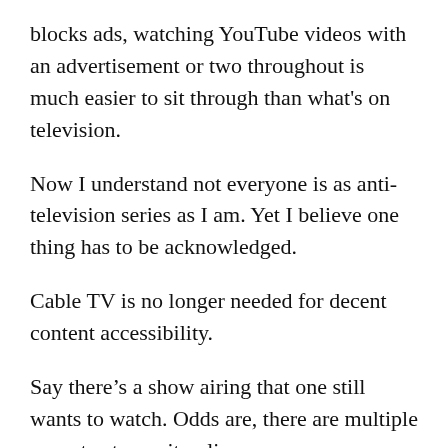blocks ads, watching YouTube videos with an advertisement or two throughout is much easier to sit through than what's on television.
Now I understand not everyone is as anti-television series as I am. Yet I believe one thing has to be acknowledged.
Cable TV is no longer needed for decent content accessibility.
Say there's a show airing that one still wants to watch. Odds are, there are multiple ways to stream it online.
The awe of how many channels are included in a cable package is no longer relevant in today's day in age.
What matters is the volume of content that is available, with the plethora of media on YouTube and other streaming services being unmatched. The fact that streaming services